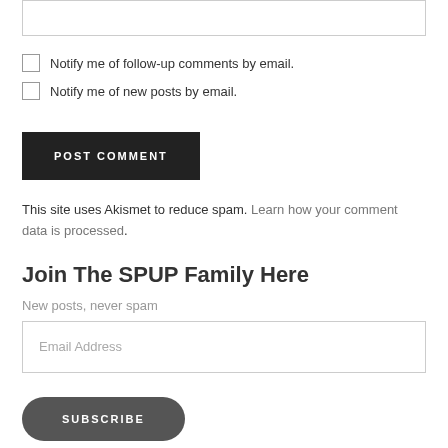[textarea/input box at top]
Notify me of follow-up comments by email.
Notify me of new posts by email.
POST COMMENT
This site uses Akismet to reduce spam. Learn how your comment data is processed.
Join The SPUP Family Here
New posts, never spam
Email Address
SUBSCRIBE